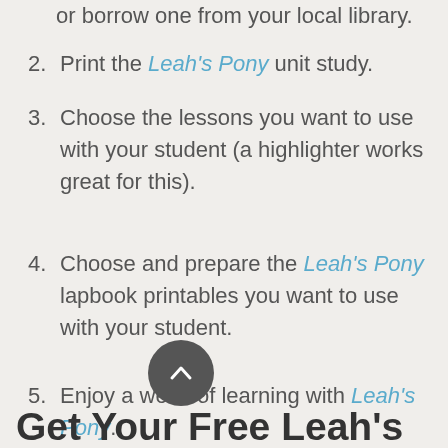or borrow one from your local library.
2. Print the Leah's Pony unit study.
3. Choose the lessons you want to use with your student (a highlighter works great for this).
4. Choose and prepare the Leah's Pony lapbook printables you want to use with your student.
5. Enjoy a week of learning with Leah's Pony.
Get Your Free Leah's Pony Unit Study & Lapbook: